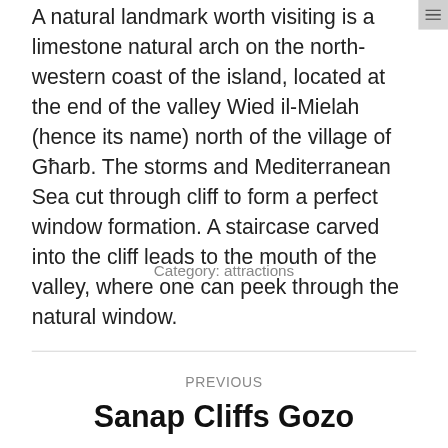A natural landmark worth visiting is a limestone natural arch on the north-western coast of the island, located at the end of the valley Wied il-Mielah (hence its name) north of the village of Għarb. The storms and Mediterranean Sea cut through cliff to form a perfect window formation. A staircase carved into the cliff leads to the mouth of the valley, where one can peek through the natural window.
Category: attractions
PREVIOUS
Sanap Cliffs Gozo